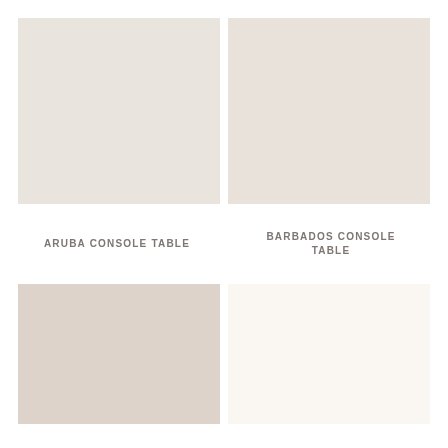[Figure (photo): Aruba Console Table product swatch - light warm beige color]
[Figure (photo): Barbados Console Table product swatch - light warm off-white color]
ARUBA CONSOLE TABLE
BARBADOS CONSOLE TABLE
[Figure (photo): Third product swatch - warm pinkish-beige color]
[Figure (photo): Fourth product swatch - near white warm color]